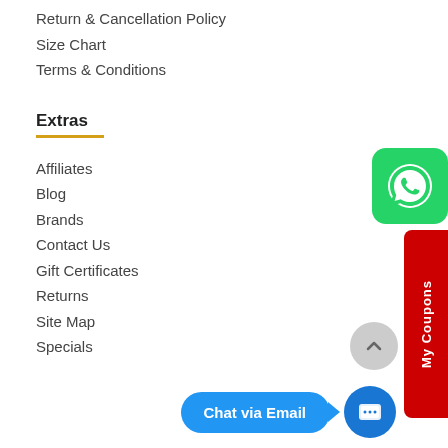Return & Cancellation Policy
Size Chart
Terms & Conditions
Extras
Affiliates
Blog
Brands
Contact Us
Gift Certificates
Returns
Site Map
Specials
[Figure (logo): WhatsApp green button with phone icon]
[Figure (other): My Coupons vertical red side tab]
[Figure (other): Scroll to top grey circle button with up arrow]
[Figure (other): Chat via Email blue pill button with chat icon]